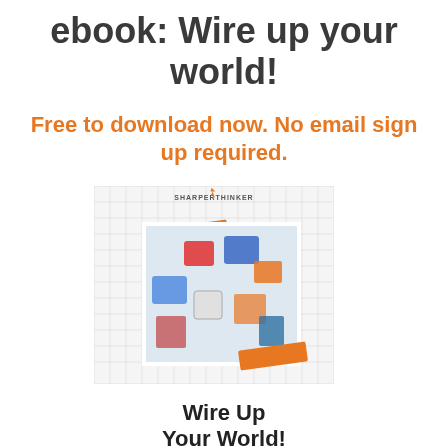ebook: Wire up your world!
Free to download now. No email sign up required.
[Figure (illustration): Book cover for 'Wire Up Your World!' ebook showing electronic components on a grid background with orange tape accents and SharperThinker logo]
Wire Up Your World!